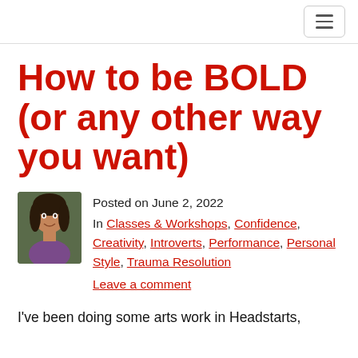[hamburger menu button]
How to be BOLD (or any other way you want)
Posted on June 2, 2022
In Classes & Workshops, Confidence, Creativity, Introverts, Performance, Personal Style, Trauma Resolution
Leave a comment
I've been doing some arts work in Headstarts,